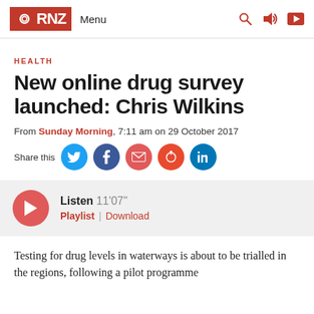RNZ Menu
HEALTH
New online drug survey launched: Chris Wilkins
From Sunday Morning, 7:11 am on 29 October 2017
Share this
Listen 11'07" Playlist | Download
Testing for drug levels in waterways is about to be trialled in the regions, following a pilot programme